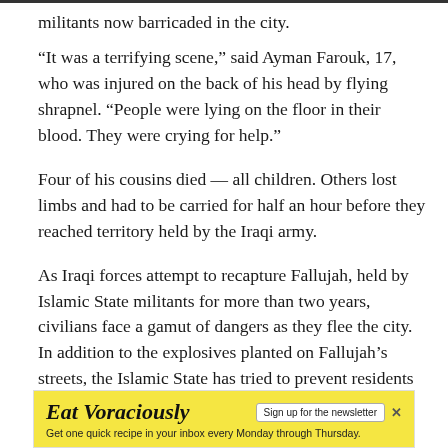militants now barricaded in the city.
“It was a terrifying scene,” said Ayman Farouk, 17, who was injured on the back of his head by flying shrapnel. “People were lying on the floor in their blood. They were crying for help.”
Four of his cousins died — all children. Others lost limbs and had to be carried for half an hour before they reached territory held by the Iraqi army.
As Iraqi forces attempt to recapture Fallujah, held by Islamic State militants for more than two years, civilians face a gamut of dangers as they flee the city. In addition to the explosives planted on Fallujah’s streets, the Islamic State has tried to prevent residents from escaping in order
[Figure (other): Advertisement banner: Eat Voraciously newsletter signup. Yellow background with italic serif title 'Eat Voraciously', a white button 'Sign up for the newsletter', an X close button, and subtext 'Get one quick recipe in your inbox every Monday through Thursday.']